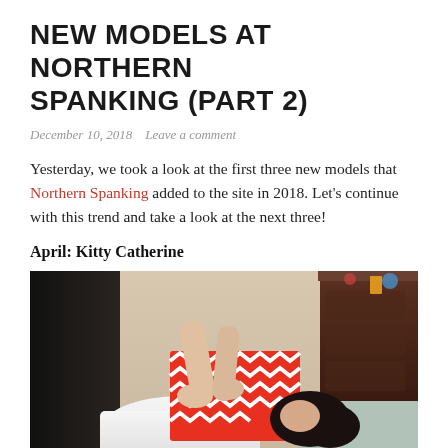NEW MODELS AT NORTHERN SPANKING (PART 2)
December 10, 2018   Leave a comment
Yesterday, we took a look at the first three new models that Northern Spanking added to the site in 2018. Let's continue with this trend and take a look at the next three!
April: Kitty Catherine
[Figure (photo): A woman in a red and white patterned top lying face down on a bed, with another person's hands on her back. Dark furniture and a bedroom setting visible in the background.]